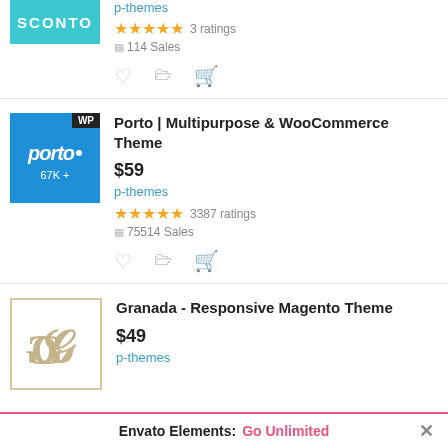[Figure (screenshot): Partial top item: SCONTO badge (teal) with p-themes author, 3 ratings (5 stars), 114 Sales]
p-themes
3 ratings
114 Sales
[Figure (screenshot): Porto theme thumbnail: blue background with 'porto' logo and '67K+' sales badge, WP label]
Porto | Multipurpose & WooCommerce Theme
$59
p-themes
3387 ratings
75514 Sales
[Figure (screenshot): Granada theme thumbnail: white box with golden GG monogram logo]
Granada - Responsive Magento Theme
$49
p-themes
Envato Elements: Go Unlimited